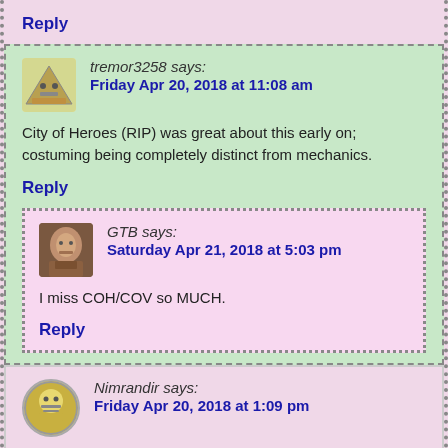Reply
tremor3258 says:
Friday Apr 20, 2018 at 11:08 am
City of Heroes (RIP) was great about this early on; costuming being completely distinct from mechanics.
Reply
GTB says:
Saturday Apr 21, 2018 at 5:03 pm
I miss COH/COV so MUCH.
Reply
Nimrandir says:
Friday Apr 20, 2018 at 1:09 pm